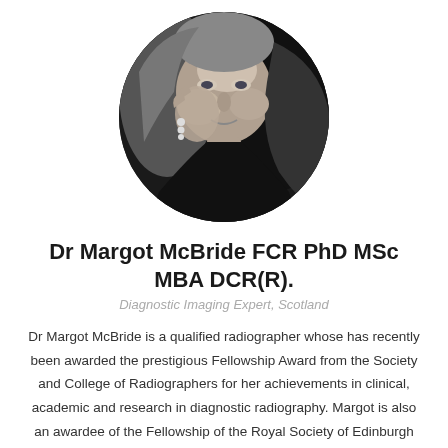[Figure (photo): Black and white circular portrait photo of Dr Margot McBride, a woman with long hair, resting her hand on her cheek and smiling.]
Dr Margot McBride FCR PhD MSc MBA DCR(R).
Diagnostic Imaging Expert, Scotland
Dr Margot McBride is a qualified radiographer whose has recently been awarded the prestigious Fellowship Award from the Society and College of Radiographers for her achievements in clinical, academic and research in diagnostic radiography. Margot is also an awardee of the Fellowship of the Royal Society of Edinburgh for her